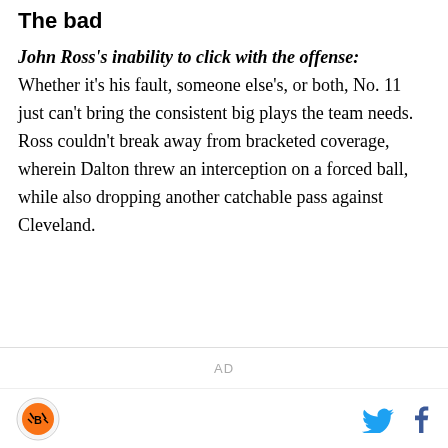The bad
John Ross's inability to click with the offense: Whether it's his fault, someone else's, or both, No. 11 just can't bring the consistent big plays the team needs. Ross couldn't break away from bracketed coverage, wherein Dalton threw an interception on a forced ball, while also dropping another catchable pass against Cleveland.
AD